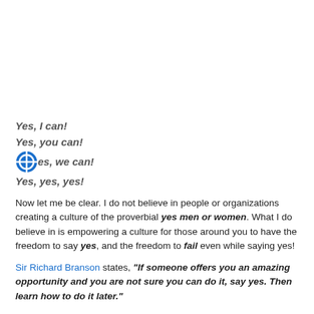Yes, I can!
Yes, you can!
Yes, we can!
Yes, yes, yes!
Now let me be clear. I do not believe in people or organizations creating a culture of the proverbial yes men or women. What I do believe in is empowering a culture for those around you to have the freedom to say yes, and the freedom to fail even while saying yes!
Sir Richard Branson states, "If someone offers you an amazing opportunity and you are not sure you can do it, say yes. Then learn how to do it later."